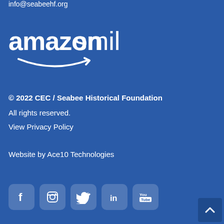info@seabeehf.org
[Figure (logo): Amazon Smile logo in white on blue background]
© 2022 CEC / Seabee Historical Foundation
All rights reserved.
View Privacy Policy
Website by Ace10 Technologies
[Figure (other): Row of 5 social media icons: Facebook, Instagram, Twitter, LinkedIn, YouTube — white rounded-rectangle icons on blue background]
[Figure (other): Back to top button with upward chevron arrow, dark blue rounded rectangle in bottom-right corner]